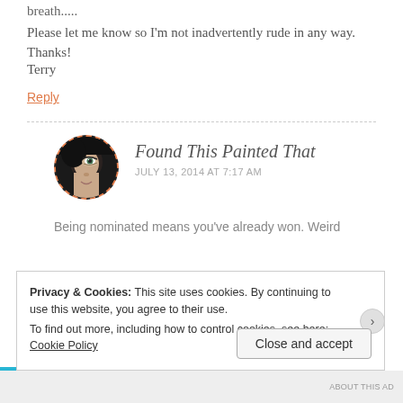breath.....
Please let me know so I'm not inadvertently rude in any way.
Thanks!
Terry
Reply
[Figure (photo): Avatar photo of a person with dramatic eye makeup, circular crop with dashed orange border]
Found This Painted That
JULY 13, 2014 AT 7:17 AM
Being nominated means you've already won. Weird
Privacy & Cookies: This site uses cookies. By continuing to use this website, you agree to their use.
To find out more, including how to control cookies, see here: Cookie Policy
Close and accept